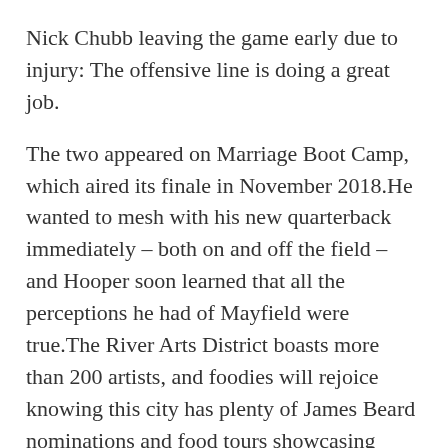Nick Chubb leaving the game early due to injury: The offensive line is doing a great job.
The two appeared on Marriage Boot Camp, which aired its finale in November 2018.He wanted to mesh with his new quarterback immediately – both on and off the field – and Hooper soon learned that all the perceptions he had of Mayfield were true.The River Arts District boasts more than 200 artists, and foodies will rejoice knowing this city has plenty of James Beard nominations and food tours showcasing some of the city's top restaurants.
In January, our frequently asked questions episode saw us blank baseball jerseys back into the world of travel-and with this week's episode, we're actually starting to plan those trips we've been dreaming about for this summer